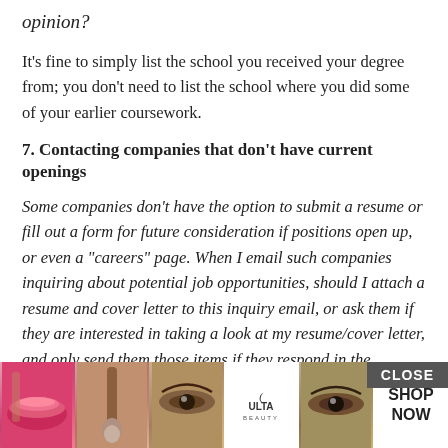opinion?
It’s fine to simply list the school you received your degree from; you don’t need to list the school where you did some of your earlier coursework.
7. Contacting companies that don’t have current openings
Some companies don’t have the option to submit a resume or fill out a form for future consideration if positions open up, or even a “careers” page. When I email such companies inquiring about potential job opportunities, should I attach a resume and cover letter to this inquiry email, or ask them if they are interested in taking a look at my resume/cover letter, and only send them those items if they respond in the affirmative?
You sho…ea if they’re…ss they
[Figure (screenshot): Advertisement overlay showing beauty/makeup images and ULTA Beauty shop now banner]